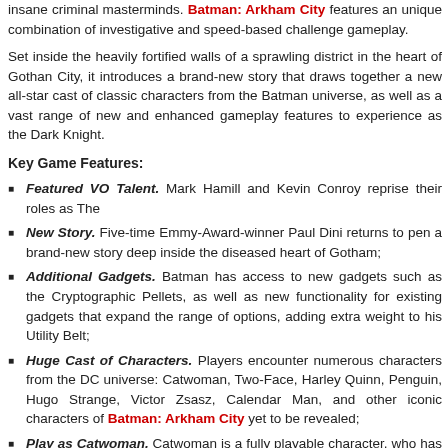insane criminal masterminds. Batman: Arkham City features an unique combination of investigative and speed-based challenge gameplay.
Set inside the heavily fortified walls of a sprawling district in the heart of Gotham City, it introduces a brand-new story that draws together a new all-star cast of classic characters from the Batman universe, as well as a vast range of new and enhanced gameplay features to experience as the Dark Knight.
Key Game Features:
Featured VO Talent. Mark Hamill and Kevin Conroy reprise their roles as The...
New Story. Five-time Emmy-Award-winner Paul Dini returns to pen a brand-new story deep inside the diseased heart of Gotham;
Additional Gadgets. Batman has access to new gadgets such as the Cryptographic Sequencer and Smoke Pellets, as well as new functionality for existing gadgets that expand the range of options adding extra weight to his Utility Belt;
Huge Cast of Characters. Players encounter numerous characters from the DC universe including Catwoman, Two-Face, Harley Quinn, Penguin, Hugo Strange, Victor Zsasz, Calendar Man, and other iconic characters of Batman: Arkham City yet to be revealed;
Play as Catwoman. Catwoman is a fully playable character, who has her own storyline seamlessly interwoven with Batman's story arc. Her navigation skills, combat and gadgets are specifically designed to deliver a fully featured and unique experience;
Advanced FreeFlow Combat. Batman faces highly coordinated, simultaneous attacks as Arkham's gangs bring heavy weapons and all-new AI to the fight, but Batman's new moves, combat animations and double the range of attacks, counters and takedowns...